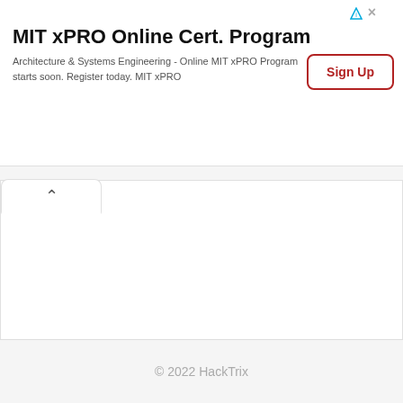[Figure (screenshot): MIT xPRO Online Certificate Program advertisement banner with Sign Up button]
MIT xPRO Online Cert. Program
Architecture & Systems Engineering - Online MIT xPRO Program starts soon. Register today. MIT xPRO
Sign Up
© 2022 HackTrix